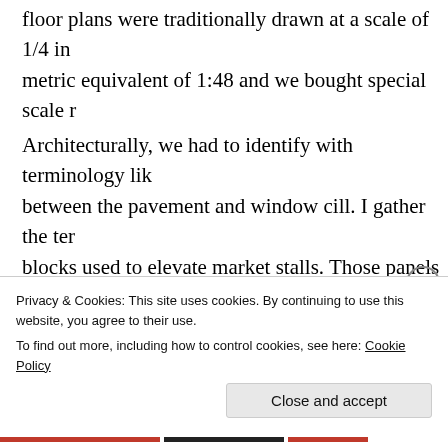floor plans were traditionally drawn at a scale of 1/4 in metric equivalent of 1:48 and we bought special scale r
Architecturally, we had to identify with terminology like between the pavement and window cill. I gather the term blocks used to elevate market stalls. Those panels were were deemed expensive and in non conservation areas, instead. The ‘pilasters’ were the column facings that fra These could be any combination of oak panelling, tiling like travertine marble. This was an area in which the lo interest and to some extent they could dictate requirem design. The glazed panels and arched ends were generi term is still in use today on modern buildings.
Privacy & Cookies: This site uses cookies. By continuing to use this website, you agree to their use.
To find out more, including how to control cookies, see here: Cookie Policy
Close and accept